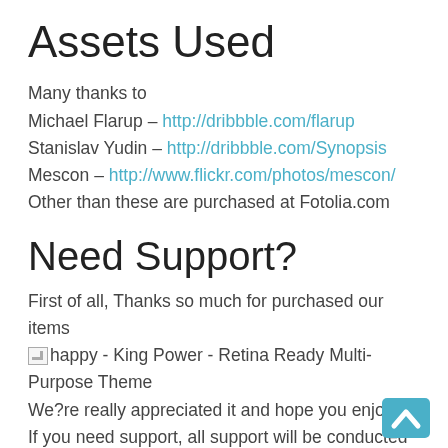Assets Used
Many thanks to
Michael Flarup – http://dribbble.com/flarup
Stanislav Yudin – http://dribbble.com/Synopsis
Mescon – http://www.flickr.com/photos/mescon/
Other than these are purchased at Fotolia.com
Need Support?
First of all, Thanks so much for purchased our items
[happy] - King Power - Retina Ready Multi-Purpose Theme
We?re really appreciated it and hope you enjoy it! If you need support, all support will be conducted through this website >